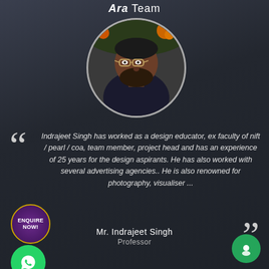Ara Team
[Figure (photo): Circular profile photo of Mr. Indrajeet Singh, a man with glasses and beard, wearing a dark shirt, with floral garland in background]
Indrajeet Singh has worked as a design educator, ex faculty of nift / pearl / coa, team member, project head and has an experience of 25 years for the design aspirants. He has also worked with several advertising agencies.. He is also renowned for photography, visualiser ...
Mr. Indrajeet Singh
Professor